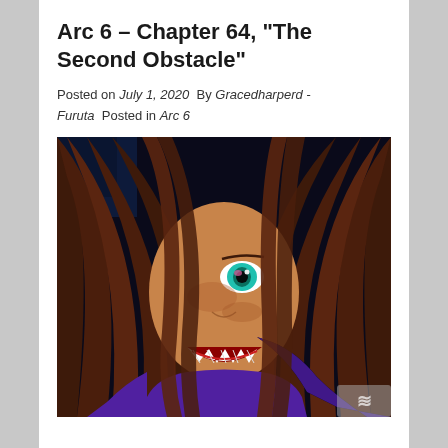Arc 6 – Chapter 64, "The Second Obstacle"
Posted on July 1, 2020  By Gracedharperd - Furuta  Posted in Arc 6
[Figure (illustration): Anime-style illustration of a character with long dark reddish-brown hair covering part of their face, one visible teal/blue eye, sharp teeth in a menacing grin, and a purple outfit. The background is dark blue-black.]